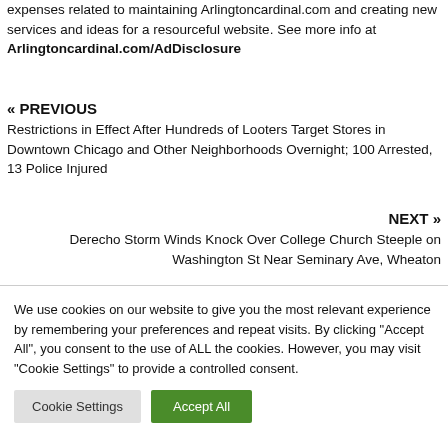associated with an Amazon banner on this website, you help pay expenses related to maintaining Arlingtoncardinal.com and creating new services and ideas for a resourceful website. See more info at Arlingtoncardinal.com/AdDisclosure
« PREVIOUS
Restrictions in Effect After Hundreds of Looters Target Stores in Downtown Chicago and Other Neighborhoods Overnight; 100 Arrested, 13 Police Injured
NEXT »
Derecho Storm Winds Knock Over College Church Steeple on Washington St Near Seminary Ave, Wheaton
We use cookies on our website to give you the most relevant experience by remembering your preferences and repeat visits. By clicking "Accept All", you consent to the use of ALL the cookies. However, you may visit "Cookie Settings" to provide a controlled consent.